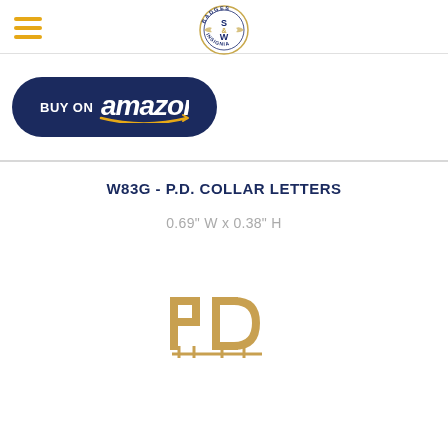[Figure (logo): S&W Badges Insignia circular logo with wings]
[Figure (logo): Buy on Amazon dark blue button with Amazon logo and orange arrow]
W83G - P.D. COLLAR LETTERS
0.69" W x 0.38" H
[Figure (photo): Gold-colored PD collar letters insignia pin on white background]